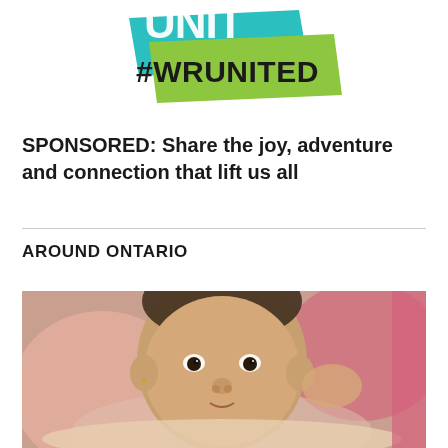[Figure (logo): WR UNITED #WRUNITED logo with teal and green overlapping shapes and bold text]
SPONSORED: Share the joy, adventure and connection that lift us all
AROUND ONTARIO
[Figure (photo): Close-up photograph of a baby lying down, looking upward, with colorful fabric in background]